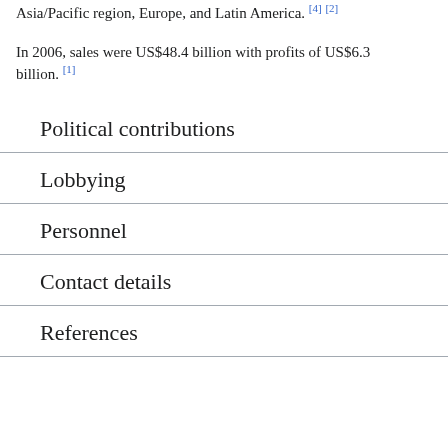Asia/Pacific region, Europe, and Latin America. [4] [2]
In 2006, sales were US$48.4 billion with profits of US$6.3 billion. [1]
Political contributions
Lobbying
Personnel
Contact details
References